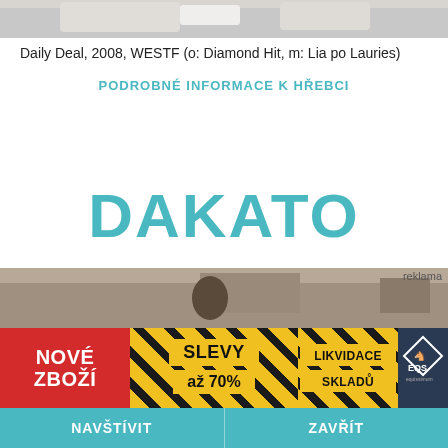[Figure (photo): Top cropped photo of a horse/equestrian scene with white and gray tones]
Daily Deal, 2008, WESTF (o: Diamond Hit, m: Lia po Lauries)
PODROBNÉ INFORMACE K HŘEBCI
DAKATO
[Figure (photo): Partial photo of equestrian/horse scene]
reklama
[Figure (infographic): Advertisement banner: NOVÉ ZBOŽÍ | SLEVY až 70% | LIKVIDACE SKLADŮ | EQS logo]
NAVŠTÍVIT
ZAVŘÍT